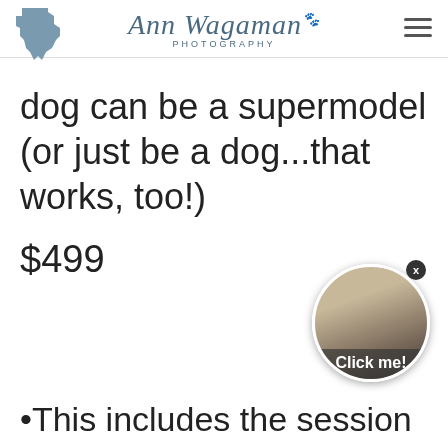Ann Wagaman Photography
dog can be a supermodel (or just be a dog...that works, too!)
$499
[Figure (photo): Circular click-me widget showing a dog and a woman, with close button]
This includes the session